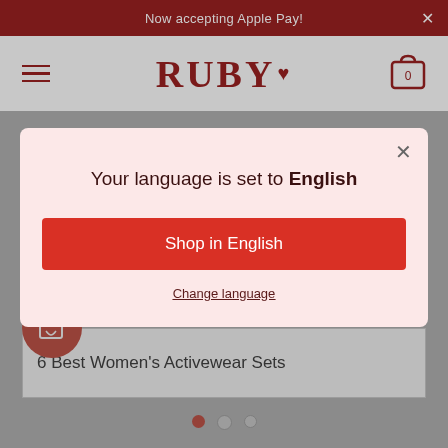Now accepting Apple Pay!
[Figure (logo): RUBY brand logo with heart icon, hamburger menu icon on left, shopping cart with 0 items on right]
Your language is set to English
Shop in English
Change language
6 Best Women's Activewear Sets